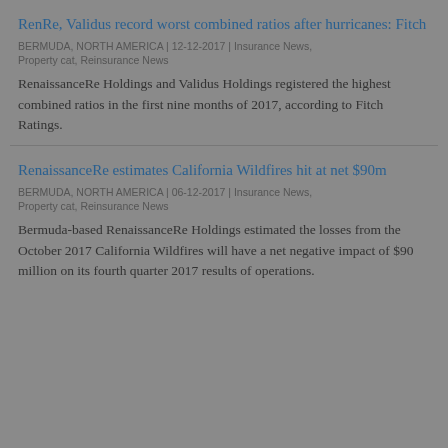RenRe, Validus record worst combined ratios after hurricanes: Fitch
BERMUDA, NORTH AMERICA | 12-12-2017 | Insurance News, Property cat, Reinsurance News
RenaissanceRe Holdings and Validus Holdings registered the highest combined ratios in the first nine months of 2017, according to Fitch Ratings.
RenaissanceRe estimates California Wildfires hit at net $90m
BERMUDA, NORTH AMERICA | 06-12-2017 | Insurance News, Property cat, Reinsurance News
Bermuda-based RenaissanceRe Holdings estimated the losses from the October 2017 California Wildfires will have a net negative impact of $90 million on its fourth quarter 2017 results of operations.